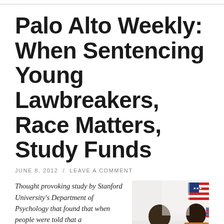Palo Alto Weekly: When Sentencing Young Lawbreakers, Race Matters, Study Funds
JUNE 8, 2012 / LEAVE A COMMENT
Thought provoking study by Stanford University's Department of Psychology that found that when people were told that a
[Figure (photo): Two individuals wearing orange 'JUVENILE' jumpsuits seated at a table, with an American flag visible in the background.]